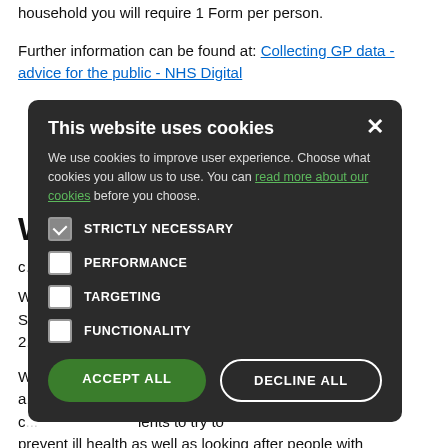household you will require 1 Form per person.
Further information can be found at: Collecting GP data - advice for the public - NHS Digital
Visit us on Facebook
[Figure (screenshot): Cookie consent modal overlay on a dark rounded rectangle background. Contains title 'This website uses cookies', body text about cookie usage with a green link 'read more about our cookies', four checkboxes (STRICTLY NECESSARY checked, PERFORMANCE unchecked, TARGETING unchecked, FUNCTIONALITY unchecked), and two buttons: ACCEPT ALL (green) and DECLINE ALL (outlined white).]
W... edical Practice in S... blished for over 2...
W... from one site a... of quality of c... ients to try to prevent ill health as well as looking after people with illness or disability. Our team of doctors...